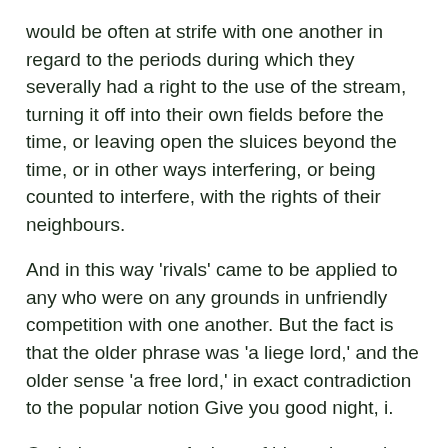would be often at strife with one another in regard to the periods during which they severally had a right to the use of the stream, turning it off into their own fields before the time, or leaving open the sluices beyond the time, or in other ways interfering, or being counted to interfere, with the rights of their neighbours.
And in this way 'rivals' came to be applied to any who were on any grounds in unfriendly competition with one another. But the fact is that the older phrase was 'a liege lord,' and the older sense 'a free lord,' in exact contradiction to the popular notion Give you good night, i.
God give you, etc. A piece of him, a bantering answer to Bernardo's surprise; as one might say, 'Well, it looks like it. If so, there must be more of her.
But the German editor Tschischwitz finds a deeper meaning. He supposes that Horatio, being a sceptic as to